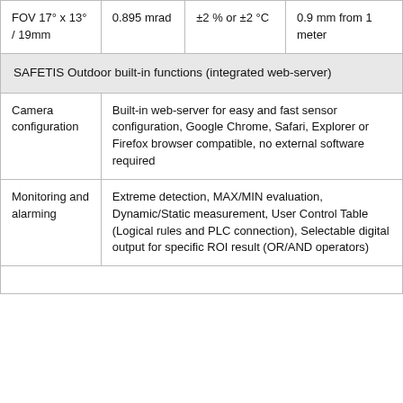| FOV 17° x 13° / 19mm | 0.895 mrad | ±2 % or ±2 °C | 0.9 mm from 1 meter |
| SAFETIS Outdoor built-in functions (integrated web-server) |  |  |  |
| Camera configuration | Built-in web-server for easy and fast sensor configuration, Google Chrome, Safari, Explorer or Firefox browser compatible, no external software required |
| Monitoring and alarming | Extreme detection, MAX/MIN evaluation, Dynamic/Static measurement, User Control Table (Logical rules and PLC connection), Selectable digital output for specific ROI result (OR/AND operators) |